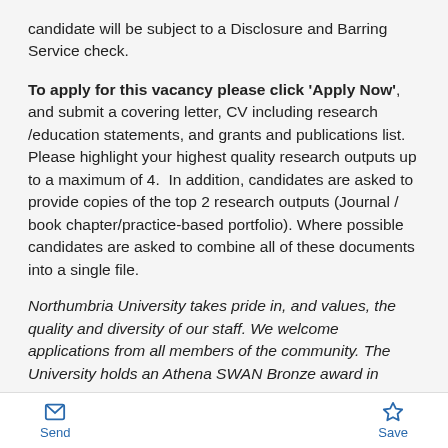candidate will be subject to a Disclosure and Barring Service check.
To apply for this vacancy please click 'Apply Now', and submit a covering letter, CV including research /education statements, and grants and publications list. Please highlight your highest quality research outputs up to a maximum of 4.  In addition, candidates are asked to provide copies of the top 2 research outputs (Journal / book chapter/practice-based portfolio). Where possible candidates are asked to combine all of these documents into a single file.
Northumbria University takes pride in, and values, the quality and diversity of our staff. We welcome applications from all members of the community. The University holds an Athena SWAN Bronze award in
Send   Save